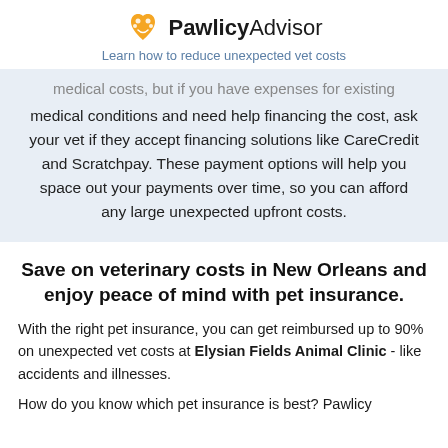PawlicyAdvisor – Learn how to reduce unexpected vet costs
medical costs, but if you have expenses for existing medical conditions and need help financing the cost, ask your vet if they accept financing solutions like CareCredit and Scratchpay. These payment options will help you space out your payments over time, so you can afford any large unexpected upfront costs.
Save on veterinary costs in New Orleans and enjoy peace of mind with pet insurance.
With the right pet insurance, you can get reimbursed up to 90% on unexpected vet costs at Elysian Fields Animal Clinic - like accidents and illnesses.
How do you know which pet insurance is best? Pawlicy